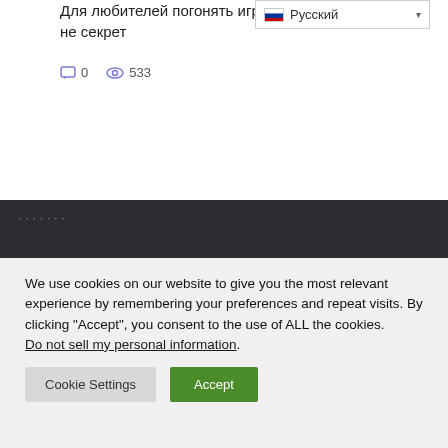Для любителей погонять игры не секрет
[Figure (screenshot): Language selector dropdown showing Russian flag and 'Русский' text with dropdown arrow]
0  533
[Figure (screenshot): Dark footer section with partial text and 'Windows' heading visible]
We use cookies on our website to give you the most relevant experience by remembering your preferences and repeat visits. By clicking “Accept”, you consent to the use of ALL the cookies. Do not sell my personal information.
Cookie Settings  Accept